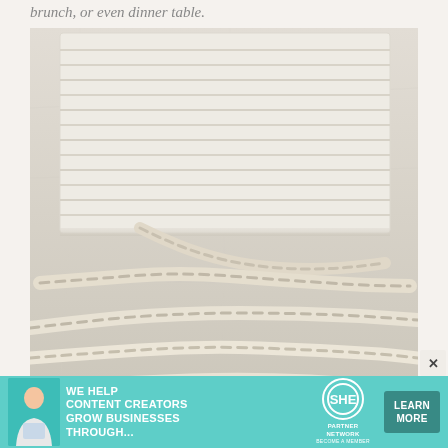brunch, or even dinner table.
[Figure (photo): Photo of twisted bread/pastry dough strips on a marble surface. The top portion shows parallel strips of dough laid out in a rectangular sheet, and the lower portion shows several individual strips that have been twisted into spiral breadsticks, arranged diagonally on the marble surface.]
[Figure (other): Advertisement banner for SHE Media Partner Network. Teal/turquoise background with a woman holding a tablet, bold white text reading 'WE HELP CONTENT CREATORS GROW BUSINESSES THROUGH...', SHE Partner Network circle logo, and a dark teal 'LEARN MORE' button.]